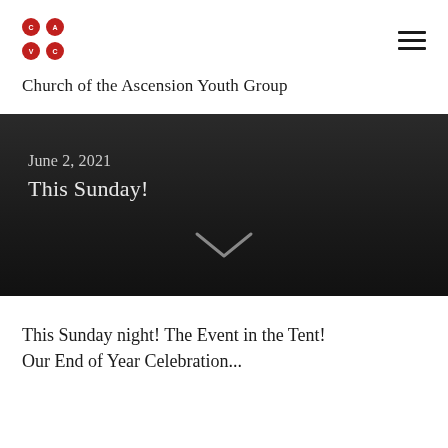[Figure (logo): CAVC logo: four red circles arranged in a 2x2 grid, each containing white letters: C, A, V, C]
Church of the Ascension Youth Group
June 2, 2021
This Sunday!
This Sunday night! The Event in the Tent! Our End of Year Celebration...